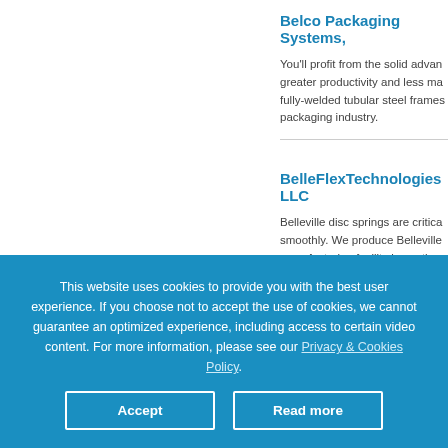Belco Packaging Systems,
You'll profit from the solid advan greater productivity and less ma fully-welded tubular steel frames packaging industry.
BelleFlexTechnologies LLC
Belleville disc springs are critica smoothly. We produce Belleville manufacturing facility in southwe
This website uses cookies to provide you with the best user experience. If you choose not to accept the use of cookies, we cannot guarantee an optimized experience, including access to certain video content. For more information, please see our Privacy & Cookies Policy.
Accept
Read more